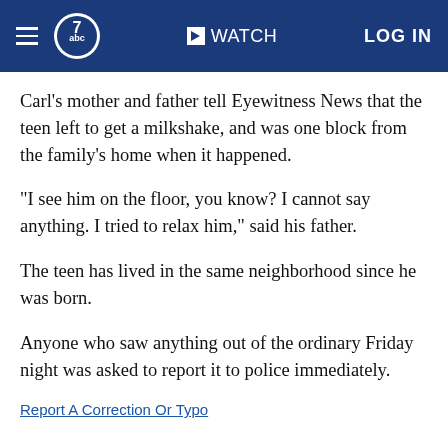abc7 WATCH LOG IN
Carl's mother and father tell Eyewitness News that the teen left to get a milkshake, and was one block from the family's home when it happened.
"I see him on the floor, you know? I cannot say anything. I tried to relax him," said his father.
The teen has lived in the same neighborhood since he was born.
Anyone who saw anything out of the ordinary Friday night was asked to report it to police immediately.
Report A Correction Or Typo